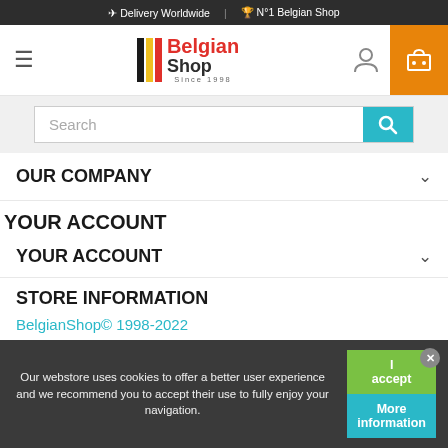✈ Delivery Worldwide | 🏆 N°1 Belgian Shop
[Figure (logo): Belgian Shop logo with black, yellow, red bars and text 'BelgianShop Since 1998']
Search
OUR COMPANY
YOUR ACCOUNT
YOUR ACCOUNT
STORE INFORMATION
BelgianShop© 1998-2022
Hosted by Maehdros
Our webstore uses cookies to offer a better user experience and we recommend you to accept their use to fully enjoy your navigation.